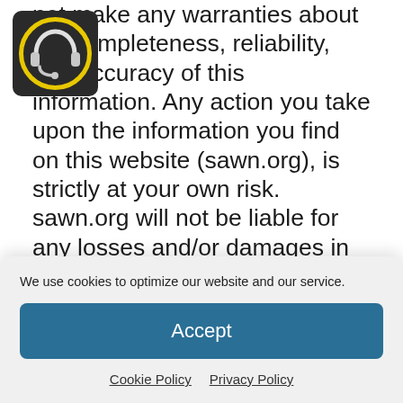[Figure (logo): Circular logo icon with headphone/support symbol, dark background with yellow circle outline]
not make any warranties about the completeness, reliability, and accuracy of this information. Any action you take upon the information you find on this website (sawn.org), is strictly at your own risk. sawn.org will not be liable for any losses and/or damages in connection with the use of our website.
From our website, you can visit other websites by following hyperlinks to such external sites. While we strive to provide only quality links to useful and ethical websites, we have no control over the
We use cookies to optimize our website and our service.
Accept
Cookie Policy   Privacy Policy